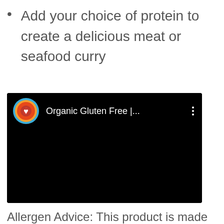Add your choice of protein to create a delicious meat or seafood curry
[Figure (screenshot): Video thumbnail showing a YouTube-style video player header with a circular channel icon (orange with a red heart logo), the text 'Organic Gluten Free |...' in white on black background, and a three-dot menu icon on the right, all on a black background.]
Allergen Advice: This product is made in the same facility where nuts and soy  are also processed.
Store product in a cool dry place